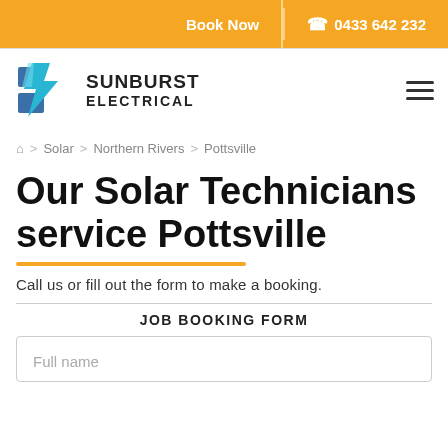Book Now | 0433 642 232
[Figure (logo): Sunburst Electrical logo — stylized lightning bolt in blue and cyan colors, with text SUNBURST ELECTRICAL]
🏠 > Solar > Northern Rivers > Pottsville
Our Solar Technicians service Pottsville
Call us or fill out the form to make a booking.
JOB BOOKING FORM
Full name